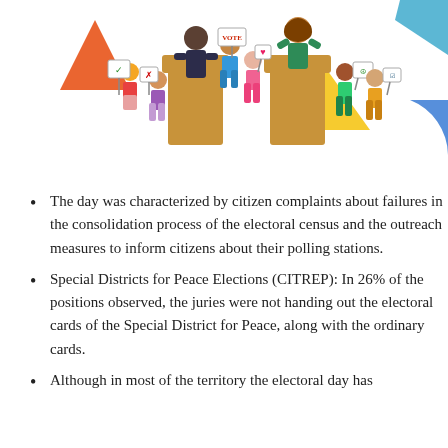[Figure (illustration): Colorful illustration showing people at election podiums, holding signs with checkmarks and X marks, with geometric shapes in background. Citizens and candidates depicted in a voting/election scene.]
The day was characterized by citizen complaints about failures in the consolidation process of the electoral census and the outreach measures to inform citizens about their polling stations.
Special Districts for Peace Elections (CITREP): In 26% of the positions observed, the juries were not handing out the electoral cards of the Special District for Peace, along with the ordinary cards.
Although in most of the territory the electoral day has